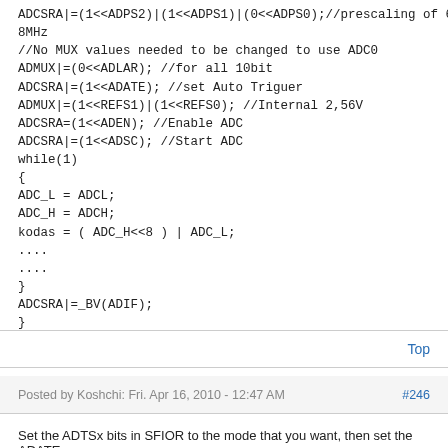ADCSRA|=(1<<ADPS2)|(1<<ADPS1)|(0<<ADPS0);//prescaling of 64: internal 8MHz
//No MUX values needed to be changed to use ADC0
ADMUX|=(0<<ADLAR); //for all 10bit
ADCSRA|=(1<<ADATE); //set Auto Triguer
ADMUX|=(1<<REFS1)|(1<<REFS0); //Internal 2,56V
ADCSRA=(1<<ADEN); //Enable ADC
ADCSRA|=(1<<ADSC); //Start ADC
while(1)
{
ADC_L = ADCL;
ADC_H = ADCH;
kodas = ( ADC_H<<8 ) | ADC_L;
....
....
}
ADCSRA|=_BV(ADIF);
}
Thanks for advises
Top
Posted by Koshchi: Fri. Apr 16, 2010 - 12:47 AM
#246
Set the ADTSx bits in SFIOR to the mode that you want, then set the ADATE